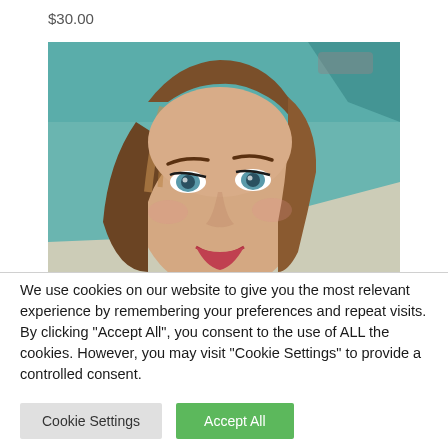$30.00
[Figure (photo): Close-up selfie photo of a young woman with long brown hair and blue eyes, smiling, taken inside a car with teal/green interior visible in background]
We use cookies on our website to give you the most relevant experience by remembering your preferences and repeat visits. By clicking “Accept All”, you consent to the use of ALL the cookies. However, you may visit "Cookie Settings" to provide a controlled consent.
Cookie Settings
Accept All